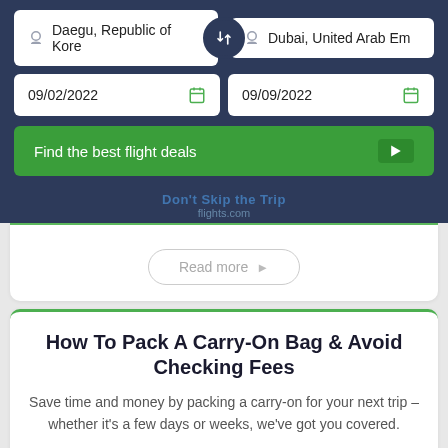[Figure (screenshot): Flight search widget with origin 'Daegu, Republic of Kore', destination 'Dubai, United Arab Em', dates 09/02/2022 and 09/09/2022, and a green 'Find the best flight deals' button]
Don't Skip the Trip
flights.com
Read more →
How To Pack A Carry-On Bag & Avoid Checking Fees
Save time and money by packing a carry-on for your next trip – whether it's a few days or weeks, we've got you covered.
Read more →